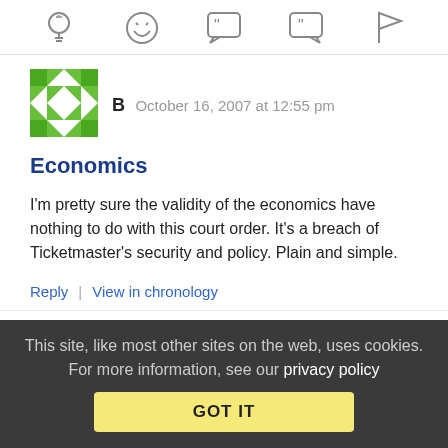[Figure (other): Row of action icons: lightbulb, laughing emoji, open-quote speech bubble, close-quote speech bubble, flag]
B   October 16, 2007 at 12:55 pm
Economics
I'm pretty sure the validity of the economics have nothing to do with this court order. It's a breach of Ticketmaster's security and policy. Plain and simple.
Reply | View in chronology
[Figure (other): Partial row of action icons at bottom]
This site, like most other sites on the web, uses cookies. For more information, see our privacy policy
GOT IT